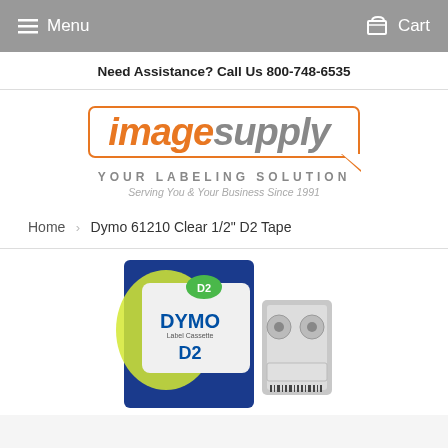Menu   Cart
Need Assistance? Call Us 800-748-6535
[Figure (logo): Image Supply logo with orange border box, orange italic 'image' and gray italic 'supply' text, speech bubble tail on bottom right]
YOUR LABELING SOLUTION
Serving You & Your Business Since 1991
Home › Dymo 61210 Clear 1/2" D2 Tape
[Figure (photo): DYMO D2 Label Cassette product photo showing tape cartridge in packaging with blue, yellow-green, and white colors, D2 branding]